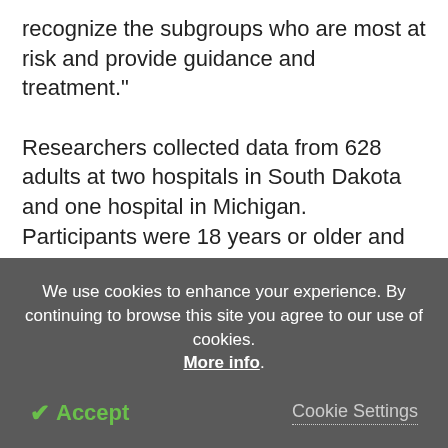recognize the subgroups who are most at risk and provide guidance and treatment."
Researchers collected data from 628 adults at two hospitals in South Dakota and one hospital in Michigan. Participants were 18 years or older and had been diagnosed with a heart attack or severe chest pains (angina) or had undergone procedures to open clogged heart arteries (surgery or stent). About 25% of the study's participants lived in a rural area. Overall, roughly one-third were women; about two-thirds were
We use cookies to enhance your experience. By continuing to browse this site you agree to our use of cookies. More info.